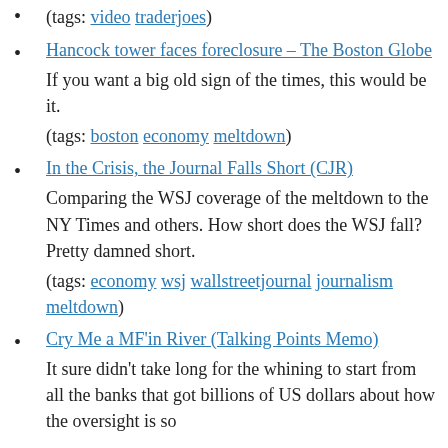(tags: video traderjoes)
Hancock tower faces foreclosure – The Boston Globe
If you want a big old sign of the times, this would be it.
(tags: boston economy meltdown)
In the Crisis, the Journal Falls Short (CJR)
Comparing the WSJ coverage of the meltdown to the NY Times and others. How short does the WSJ fall? Pretty damned short.
(tags: economy wsj wallstreetjournal journalism meltdown)
Cry Me a MF'in River (Talking Points Memo)
It sure didn't take long for the whining to start from all the banks that got billions of US dollars about how the oversight is so